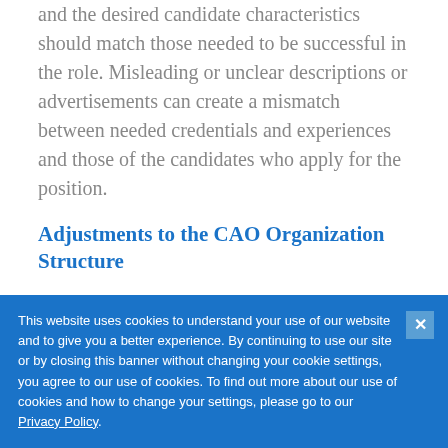and the desired candidate characteristics should match those needed to be successful in the role. Misleading or unclear descriptions or advertisements can create a mismatch between needed credentials and experiences and those of the candidates who apply for the position.
Adjustments to the CAO Organization Structure
Few organizations create a structure that requires one of the key strategic leaders of the organization to directly supervise the work of 20+ positions, but this is what has been created
This website uses cookies to understand your use of our website and to give you a better experience. By continuing to use our site or by closing this banner without changing your cookie settings, you agree to our use of cookies. To find out more about our use of cookies and how to change your settings, please go to our Privacy Policy.